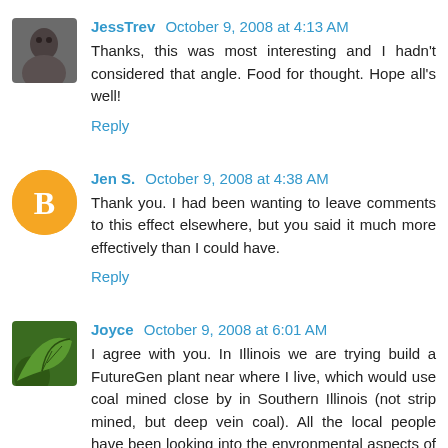[Figure (photo): Avatar photo of JessTrev, small dark photo of a person]
JessTrev October 9, 2008 at 4:13 AM
Thanks, this was most interesting and I hadn't considered that angle. Food for thought. Hope all's well!
Reply
[Figure (logo): Blogger orange circle logo with B letter]
Jen S. October 9, 2008 at 4:38 AM
Thank you. I had been wanting to leave comments to this effect elsewhere, but you said it much more effectively than I could have.
Reply
[Figure (photo): Avatar photo of Joyce, green leaf/nature photo]
Joyce October 9, 2008 at 6:01 AM
I agree with you. In Illinois we are trying build a FutureGen plant near where I live, which would use coal mined close by in Southern Illinois (not strip mined, but deep vein coal). All the local people have been looking into the envronmental aspects of it for years, because who wants some big polluter in their back yard? This plant would